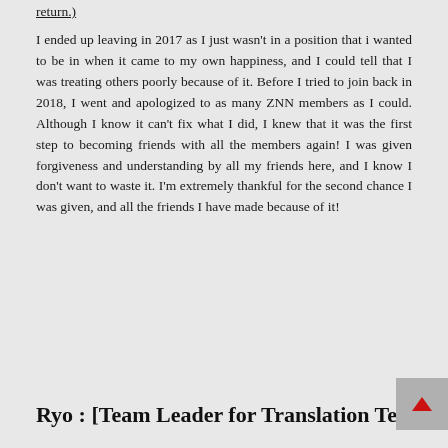return.)
I ended up leaving in 2017 as I just wasn't in a position that i wanted to be in when it came to my own happiness, and I could tell that I was treating others poorly because of it. Before I tried to join back in 2018, I went and apologized to as many ZNN members as I could. Although I know it can't fix what I did, I knew that it was the first step to becoming friends with all the members again! I was given forgiveness and understanding by all my friends here, and I know I don't want to waste it. I'm extremely thankful for the second chance I was given, and all the friends I have made because of it!
Ryo : [Team Leader for Translation Team]